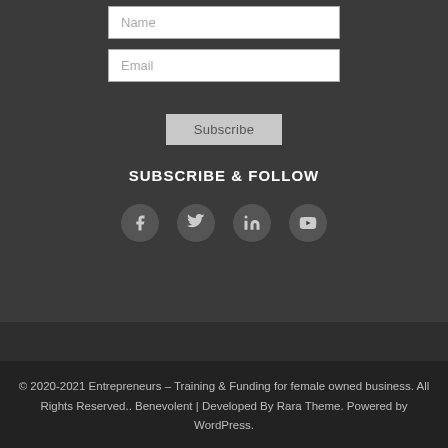[Figure (screenshot): Email input field with placeholder text 'Email' and a 'Name' input field partially visible at top]
[Figure (screenshot): Subscribe button]
SUBSCRIBE & FOLLOW
[Figure (infographic): Social media icons: Facebook, Twitter, LinkedIn, YouTube]
© 2020-2021 Entrepreneurs – Training & Funding for female owned business. All Rights Reserved.. Benevolent | Developed By Rara Theme. Powered by WordPress.